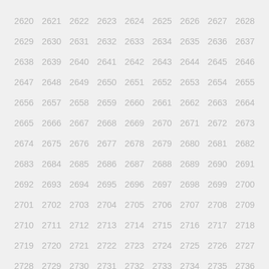2620 2621 2622 2623 2624 2625 2626 2627 2628 2629 2630 2631 2632 2633 2634 2635 2636 2637 2638 2639 2640 2641 2642 2643 2644 2645 2646 2647 2648 2649 2650 2651 2652 2653 2654 2655 2656 2657 2658 2659 2660 2661 2662 2663 2664 2665 2666 2667 2668 2669 2670 2671 2672 2673 2674 2675 2676 2677 2678 2679 2680 2681 2682 2683 2684 2685 2686 2687 2688 2689 2690 2691 2692 2693 2694 2695 2696 2697 2698 2699 2700 2701 2702 2703 2704 2705 2706 2707 2708 2709 2710 2711 2712 2713 2714 2715 2716 2717 2718 2719 2720 2721 2722 2723 2724 2725 2726 2727 2728 2729 2730 2731 2732 2733 2734 2735 2736